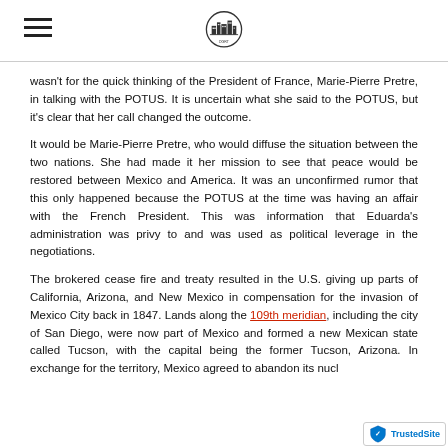[Hamburger menu icon] [Site logo/building icon]
wasn't for the quick thinking of the President of France, Marie-Pierre Pretre, in talking with the POTUS. It is uncertain what she said to the POTUS, but it's clear that her call changed the outcome.
It would be Marie-Pierre Pretre, who would diffuse the situation between the two nations. She had made it her mission to see that peace would be restored between Mexico and America. It was an unconfirmed rumor that this only happened because the POTUS at the time was having an affair with the French President. This was information that Eduarda's administration was privy to and was used as political leverage in the negotiations.
The brokered cease fire and treaty resulted in the U.S. giving up parts of California, Arizona, and New Mexico in compensation for the invasion of Mexico City back in 1847. Lands along the 109th meridian, including the city of San Diego, were now part of Mexico and formed a new Mexican state called Tucson, with the capital being the former Tucson, Arizona. In exchange for the territory, Mexico agreed to abandon its nucl…